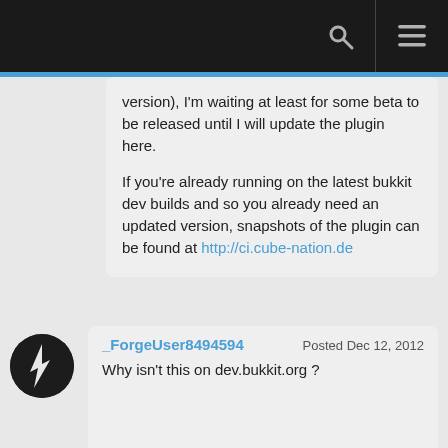[navigation bar with search and menu icons]
version), I'm waiting at least for some beta to be released until I will update the plugin here.

If you're already running on the latest bukkit dev builds and so you already need an updated version, snapshots of the plugin can be found at http://ci.cube-nation.de
_ForgeUser8494594   Posted Dec 12, 2012
Why isn't this on dev.bukkit.org ?
Mysteryem   Posted Dec 9, 2012
I've been having trouble getting the config to work properly (offers seem to work fine) on 1.4.5-R0.2 with version 1.2 of the plugin. Setting "allow-damage: false"